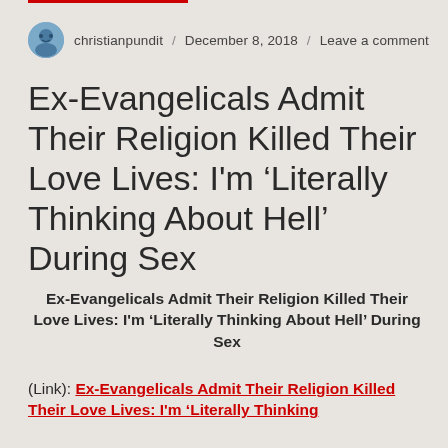christianpundit / December 8, 2018 / Leave a comment
Ex-Evangelicals Admit Their Religion Killed Their Love Lives: I’m ‘Literally Thinking About Hell’ During Sex
Ex-Evangelicals Admit Their Religion Killed Their Love Lives: I’m ‘Literally Thinking About Hell’ During Sex
(Link): Ex-Evangelicals Admit Their Religion Killed Their Love Lives: I’m ‘Literally Thinking